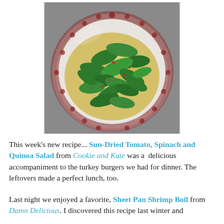[Figure (photo): A bowl of Sun-Dried Tomato, Spinach and Quinoa Salad — fresh spinach leaves and crumbled quinoa in a decorative white bowl with red floral pattern around the rim, photographed from above on a grey surface.]
This week's new recipe...  Sun-Dried Tomato, Spinach and Quinoa Salad from Cookie and Kate was a  delicious accompaniment to the turkey burgers we had for dinner. The leftovers made a perfect lunch, too.
Last night we enjoyed a favorite, Sheet Pan Shrimp Boil from Damn Delicious. I discovered this recipe last winter and